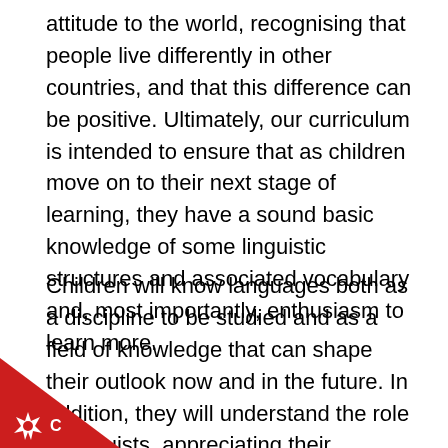attitude to the world, recognising that people live differently in other countries, and that this difference can be positive. Ultimately, our curriculum is intended to ensure that as children move on to their next stage of learning, they have a sound basic knowledge of some linguistic structures and associated vocabulary and, most importantly, enthusiasm to learn more.
Children will know languages both as a discipline to be studied and as a field of knowledge that can shape their outlook now and in the future. In addition, they will understand the role of linguists, appreciating their contributions, knowing that they could, should they wish to, have a career in this in the future. They will recognise and